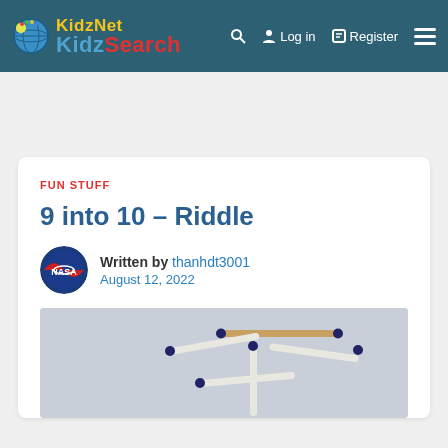KidzNet KidzSearch — Log in — Register
FUN STUFF
9 into 10 – Riddle
Written by thanhdt3001
August 12, 2022
[Figure (photo): Matchsticks arranged on a light grey surface forming shapes or a puzzle pattern.]